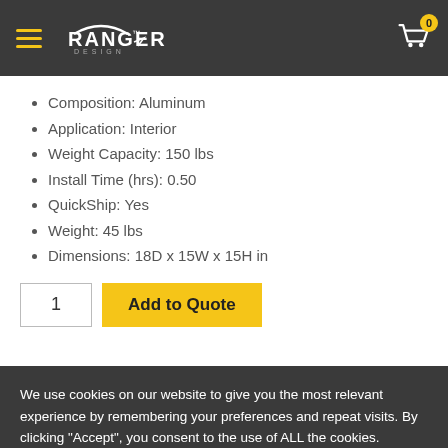Ranger Design — Navigation header with hamburger menu, logo, and cart icon (0 items)
Composition: Aluminum
Application: Interior
Weight Capacity: 150 lbs
Install Time (hrs): 0.50
QuickShip: Yes
Weight: 45 lbs
Dimensions: 18D x 15W x 15H in
1  Add to Quote
We use cookies on our website to give you the most relevant experience by remembering your preferences and repeat visits. By clicking “Accept”, you consent to the use of ALL the cookies.
Cookie Settings  Accept